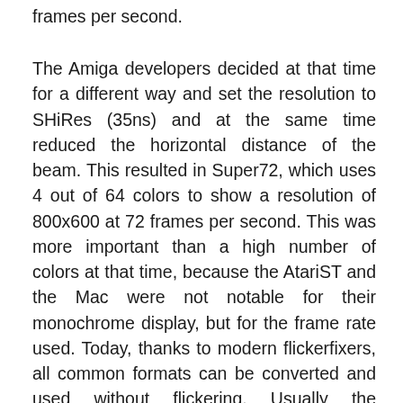frames per second.
The Amiga developers decided at that time for a different way and set the resolution to SHiRes (35ns) and at the same time reduced the horizontal distance of the beam. This resulted in Super72, which uses 4 out of 64 colors to show a resolution of 800x600 at 72 frames per second. This was more important than a high number of colors at that time, because the AtariST and the Mac were not notable for their monochrome display, but for the frame rate used. Today, thanks to modern flickerfixers, all common formats can be converted and used without flickering. Usually the SuperPlus mode is also displayed without any problems by normal Amiga displays, like 1081, 1084 or Philips CM8833.